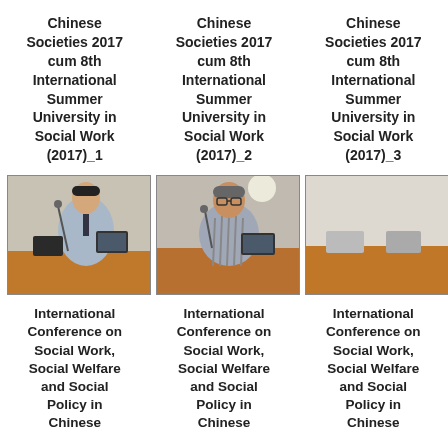Chinese Societies 2017 cum 8th International Summer University in Social Work (2017)_1
Chinese Societies 2017 cum 8th International Summer University in Social Work (2017)_2
Chinese Societies 2017 cum 8th International Summer University in Social Work (2017)_3
[Figure (photo): A man in a light blue shirt presenting at a podium with a microphone and laptop in a conference room setting]
[Figure (photo): An older man in a striped shirt presenting at a podium with a microphone and laptop in a conference room setting]
[Figure (photo): Empty or partially visible conference room image]
International Conference on Social Work, Social Welfare and Social Policy in Chinese
International Conference on Social Work, Social Welfare and Social Policy in Chinese
International Conference on Social Work, Social Welfare and Social Policy in Chinese